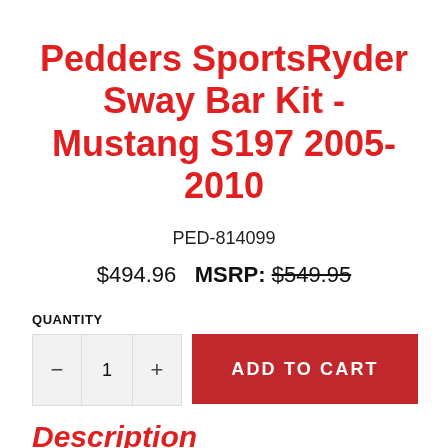Pedders SportsRyder Sway Bar Kit - Mustang S197 2005-2010
PED-814099
$494.96  MSRP: $549.95
QUANTITY
− 1 + ADD TO CART
Description